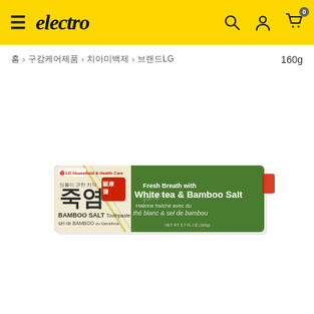electro
홈 > 구강케어제품 > 치아미백제 > 브랜드LG   160g
[Figure (photo): LG Household & Health Care Bamboo Salt Toothpaste box (죽염), 160g. White and green packaging with Korean and French text. 'Fresh Breath with White tea & Bamboo Salt' and 'Haleine fraîche avec du thé blanc & sel de bambou'. NET WT 5.7 FL.OZ (160g).]